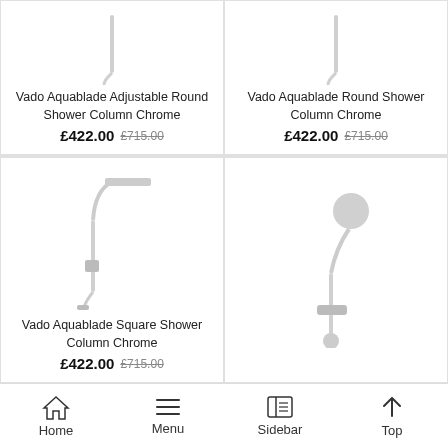[Figure (photo): Vado Aquablade Adjustable Round Shower Column Chrome product image]
Vado Aquablade Adjustable Round Shower Column Chrome
£422.00  £715.00
[Figure (photo): Vado Aquablade Round Shower Column Chrome product image]
Vado Aquablade Round Shower Column Chrome
£422.00  £715.00
[Figure (photo): Vado Aquablade Square Shower Column Chrome product image]
Vado Aquablade Square Shower Column Chrome
£422.00  £715.00
[Figure (photo): Shower column with round head and thermostatic bar product image]
Home  Menu  Sidebar  Top